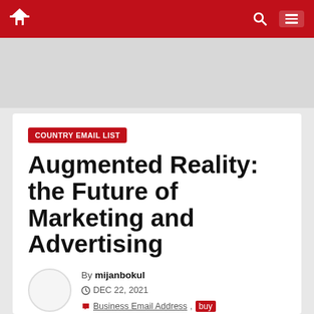Navigation bar with home, search, and menu icons
[Figure (screenshot): Gray advertisement banner area]
COUNTRY EMAIL LIST
Augmented Reality: the Future of Marketing and Advertising
By mijanbokul
DEC 22, 2021  Business Email Address, buy email list, Country Email List, email database
email list, Country Email List, email database